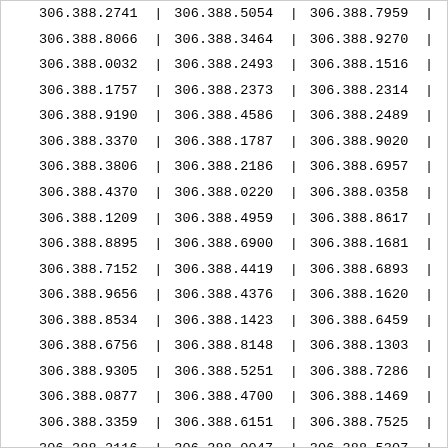| 306.388.2741 | | | 306.388.5054 | | | 306.388.7959 | | |
| 306.388.8066 | | | 306.388.3464 | | | 306.388.9270 | | |
| 306.388.0032 | | | 306.388.2493 | | | 306.388.1516 | | |
| 306.388.1757 | | | 306.388.2373 | | | 306.388.2314 | | |
| 306.388.9190 | | | 306.388.4586 | | | 306.388.2489 | | |
| 306.388.3370 | | | 306.388.1787 | | | 306.388.9020 | | |
| 306.388.3806 | | | 306.388.2186 | | | 306.388.6957 | | |
| 306.388.4370 | | | 306.388.0220 | | | 306.388.0358 | | |
| 306.388.1209 | | | 306.388.4959 | | | 306.388.8617 | | |
| 306.388.8895 | | | 306.388.6900 | | | 306.388.1681 | | |
| 306.388.7152 | | | 306.388.4419 | | | 306.388.6893 | | |
| 306.388.9656 | | | 306.388.4376 | | | 306.388.1620 | | |
| 306.388.8534 | | | 306.388.1423 | | | 306.388.6459 | | |
| 306.388.6756 | | | 306.388.8148 | | | 306.388.1303 | | |
| 306.388.9305 | | | 306.388.5251 | | | 306.388.7286 | | |
| 306.388.0877 | | | 306.388.4700 | | | 306.388.1469 | | |
| 306.388.3359 | | | 306.388.6151 | | | 306.388.7525 | | |
| 306.388.2116 | | | 306.388.0047 | | | 306.388.5307 | | |
| 306.388.7399 | | | 306.388.1281 | | | 306.388.0072 | | |